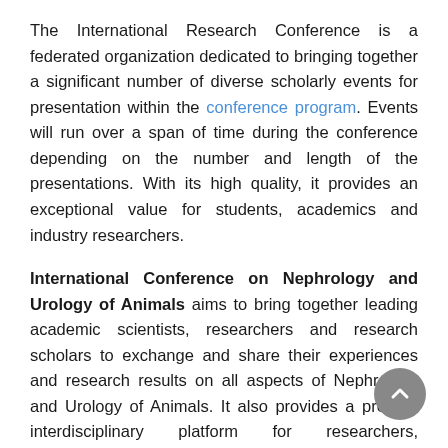The International Research Conference is a federated organization dedicated to bringing together a significant number of diverse scholarly events for presentation within the conference program. Events will run over a span of time during the conference depending on the number and length of the presentations. With its high quality, it provides an exceptional value for students, academics and industry researchers.
International Conference on Nephrology and Urology of Animals aims to bring together leading academic scientists, researchers and research scholars to exchange and share their experiences and research results on all aspects of Nephrology and Urology of Animals. It also provides a premier interdisciplinary platform for researchers, practitioners and educators to present and discuss the most recent innovations,